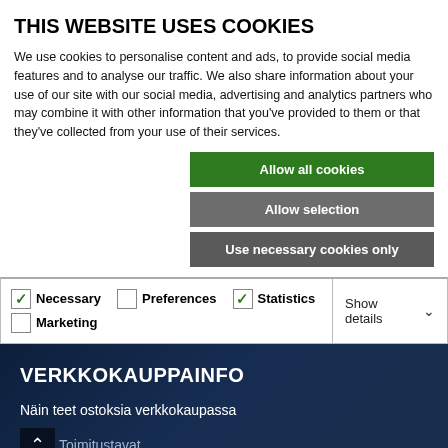THIS WEBSITE USES COOKIES
We use cookies to personalise content and ads, to provide social media features and to analyse our traffic. We also share information about your use of our site with our social media, advertising and analytics partners who may combine it with other information that you've provided to them or that they've collected from your use of their services.
Allow all cookies
Allow selection
Use necessary cookies only
| Necessary | Preferences | Statistics | Marketing | Show details |
| --- | --- | --- | --- | --- |
| checked | unchecked | checked | unchecked | Show details |
VERKKOKAUPPAINFO
Näin teet ostoksia verkkokaupassa
Toimitustavat
Maksutavat
Sopimusehdot